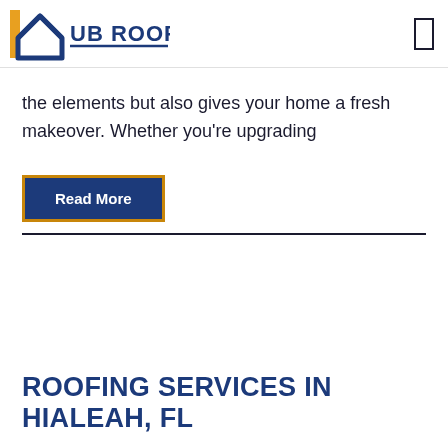UB ROOFING
the elements but also gives your home a fresh makeover. Whether you're upgrading
Read More
ROOFING SERVICES IN HIALEAH, FL